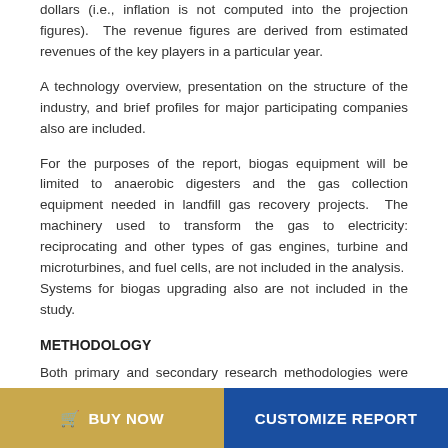dollars (i.e., inflation is not computed into the projection figures).  The revenue figures are derived from estimated revenues of the key players in a particular year.
A technology overview, presentation on the structure of the industry, and brief profiles for major participating companies also are included.
For the purposes of the report, biogas equipment will be limited to anaerobic digesters and the gas collection equipment needed in landfill gas recovery projects.  The machinery used to transform the gas to electricity: reciprocating and other types of gas engines, turbine and microturbines, and fuel cells, are not included in the analysis.  Systems for biogas upgrading also are not included in the study.
METHODOLOGY
Both primary and secondary research methodologies were used in preparing this study.  A comprehensive literature